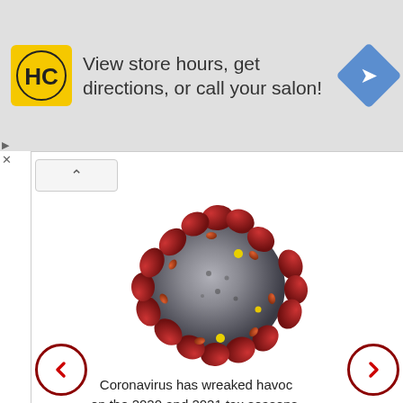[Figure (screenshot): Advertisement banner with HC logo, text 'View store hours, get directions, or call your salon!' and a blue navigation arrow icon]
[Figure (photo): 3D illustration of a coronavirus (SARS-CoV-2) particle with red spike proteins on a grey spherical body against white background]
Coronavirus has wreaked havoc on the 2020 and 2021 tax seasons. These three Coronavirus (COVID-19) and Taxes pages have details: March-July 2020, August-December 2020